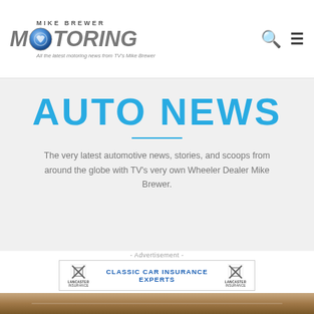MIKE BREWER MOTORING - All the latest motoring news from TV's Mike Brewer
AUTO NEWS
The very latest automotive news, stories, and scoops from around the globe with TV's very own Wheeler Dealer Mike Brewer.
- Advertisement -
[Figure (other): Lancaster Insurance Classic Car Insurance Experts advertisement banner]
[Figure (photo): Photo of Mike Brewer in a garage workshop with BP sign, Union Jack flag, and Austin sign visible]